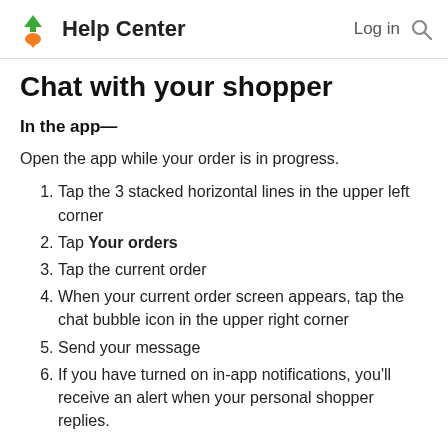Help Center  Log in 🔍
Chat with your shopper
In the app—
Open the app while your order is in progress.
1. Tap the 3 stacked horizontal lines in the upper left corner
2. Tap Your orders
3. Tap the current order
4. When your current order screen appears, tap the chat bubble icon in the upper right corner
5. Send your message
6. If you have turned on in-app notifications, you'll receive an alert when your personal shopper replies.